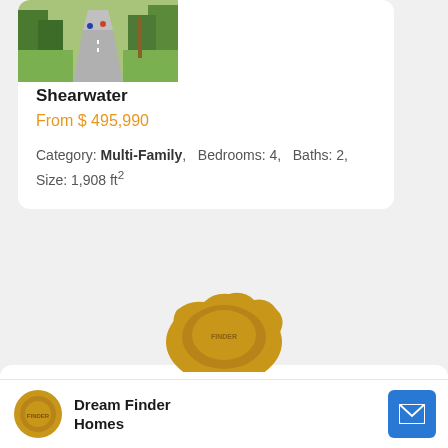[Figure (photo): Outdoor path/road with trees and two cyclists, property listing image for Shearwater]
Shearwater
From $ 495,990
Category: Multi-Family,   Bedrooms: 4,   Baths: 2,   Size: 1,908 ft²
[Figure (photo): Gold wax seal partially visible at bottom of page]
Dream Finder Homes